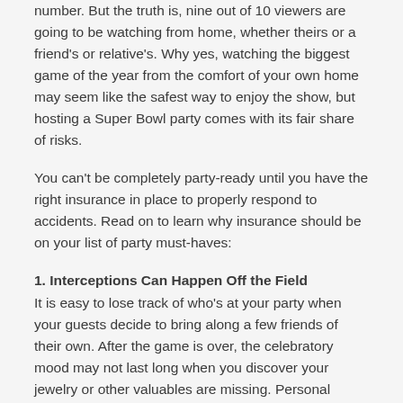number. But the truth is, nine out of 10 viewers are going to be watching from home, whether theirs or a friend's or relative's. Why yes, watching the biggest game of the year from the comfort of your own home may seem like the safest way to enjoy the show, but hosting a Super Bowl party comes with its fair share of risks.
You can't be completely party-ready until you have the right insurance in place to properly respond to accidents. Read on to learn why insurance should be on your list of party must-haves:
1. Interceptions Can Happen Off the Field
It is easy to lose track of who's at your party when your guests decide to bring along a few friends of their own. After the game is over, the celebratory mood may not last long when you discover your jewelry or other valuables are missing. Personal property coverage and renters insurance can help you replace those items up to your policy's limits. Remember to also take a personal contents inventory before the party and immediately contact your insurer if you discover anything is missing.